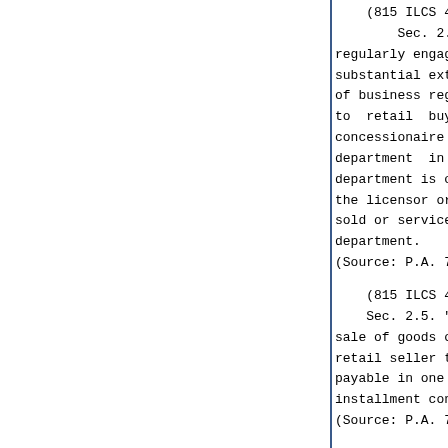(815 ILCS 405/2.4)(from Ch. 1
        Sec. 2.4. "Retail seller
regularly engaged in, and wh
substantial extent of, selling,
of business regularly sells or ot
to retail buyers. The term
concessionaire under a lease
department in a shop, store o
department is conducted in the na
the licensor or store is liable t
sold or services furnished or ren
department.
(Source: P.A. 76-1780.)
(815 ILCS 405/2.5)(from Ch. 1
    Sec. 2.5. "Retail installme
sale of goods or a furnishing o
retail seller to a retail buyer
payable in one or more instal
installment contract or a retail
(Source: P.A. 76-1780.)
(815 ILCS 405/2.6)(from Ch. 1
        Sec. 2.6. "Retail insta
contract" or "contract" means
other than a retail charge agreem
a sale made pursuant thereto, e
prescribing the terms of a retail
(Source: Laws 1967, p. 2149.)